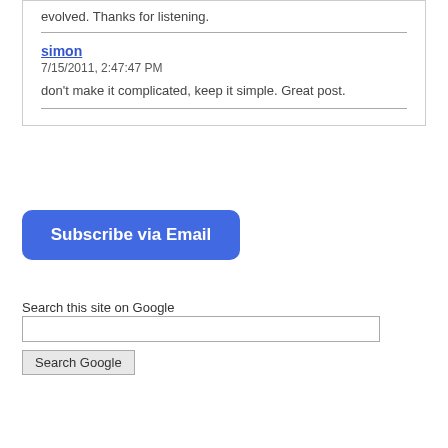evolved. Thanks for listening.
simon
7/15/2011, 2:47:47 PM
don't make it complicated, keep it simple. Great post.
Subscribe via Email
Search this site on Google
Search Google